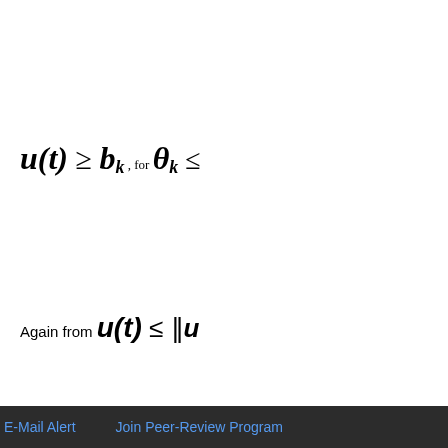Next, we select u ∈
Again from u(t) ≤ ‖u
Then b_k ≤ u(t) ≤ b
So, there has
Top
ABSTRACT
Introduction
The Preliminary Lemmas
Main Results
Example
E-Mail Alert    Join Peer-Review Program